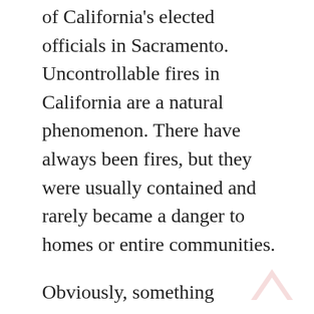of California's elected officials in Sacramento. Uncontrollable fires in California are a natural phenomenon. There have always been fires, but they were usually contained and rarely became a danger to homes or entire communities.
Obviously, something changed: It was the radicalism and idiocy of the powerful “environmentalist” movement and their absurd demands. No doubt about it, the extensive nature of these recent fires is due to California environmental legislation and regulations promoted by the wacko environmentalist lobby.
Prior to 1990, county fire departments across California routinely cut fire-breaks every few miles through heavily forested areas. These